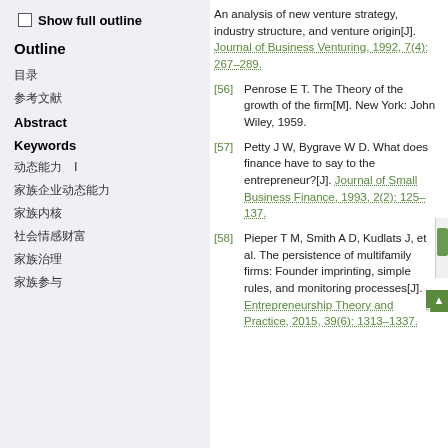Show full outline
Outline
目录
参考文献
Abstract
Keywords
动态能力　Ⅰ
家族企业动态能力
家族内核
社会情感财富
家族治理
家族参与
An analysis of new venture strategy, industry structure, and venture origin[J]. Journal of Business Venturing, 1992, 7(4): 267–289.
[56] Penrose E T. The Theory of the growth of the firm[M]. New York: John Wiley, 1959.
[57] Petty J W, Bygrave W D. What does finance have to say to the entrepreneur?[J]. Journal of Small Business Finance, 1993, 2(2): 125–137.
[58] Pieper T M, Smith A D, Kudlats J, et al. The persistence of multifamily firms: Founder imprinting, simple rules, and monitoring processes[J]. Entrepreneurship Theory and Practice, 2015, 39(6): 1313–1337.